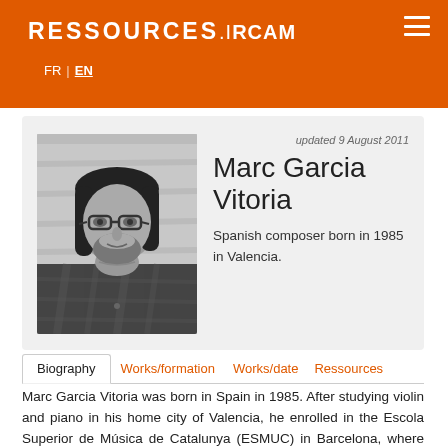RESSOURCES.iRCAM — FR | EN
[Figure (photo): Black and white portrait photo of Marc Garcia Vitoria, a young man with long dark hair, glasses, and a beard, wearing a plaid shirt.]
updated 9 August 2011
Marc Garcia Vitoria
Spanish composer born in 1985 in Valencia.
Biography | Works/formation | Works/date | Ressources
Marc Garcia Vitoria was born in Spain in 1985. After studying violin and piano in his home city of Valencia, he enrolled in the Escola Superior de Música de Catalunya (ESMUC) in Barcelona, where he studied with Luis Naón, Ramon Lazkano, and Gabriel Brnčič. He